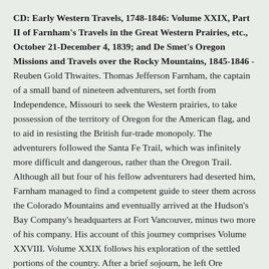CD: Early Western Travels, 1748-1846: Volume XXIX, Part II of Farnham's Travels in the Great Western Prairies, etc., October 21-December 4, 1839; and De Smet's Oregon Missions and Travels over the Rocky Mountains, 1845-1846 - Reuben Gold Thwaites. Thomas Jefferson Farnham, the captain of a small band of nineteen adventurers, set forth from Independence, Missouri to seek the Western prairies, to take possession of the territory of Oregon for the American flag, and to aid in resisting the British fur-trade monopoly. The adventurers followed the Santa Fe Trail, which was infinitely more difficult and dangerous, rather than the Oregon Trail. Although all but four of his fellow adventurers had deserted him, Farnham managed to find a competent guide to steer them across the Colorado Mountains and eventually arrived at the Hudson's Bay Company's headquarters at Fort Vancouver, minus two more of his company. His account of this journey comprises Volume XXVIII. Volume XXIX follows his exploration of the settled portions of the country. After a brief sojourn, he left Oregon...